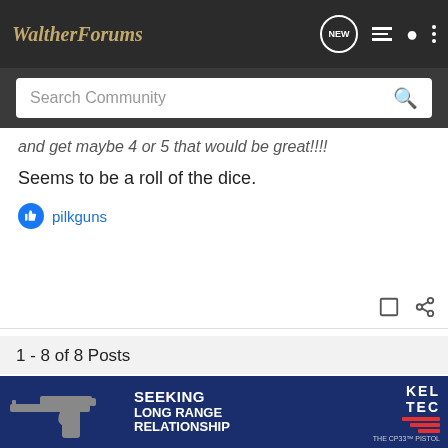WaltherForums
and get maybe 4 or 5 that would be great!!
Seems to be a roll of the dice.
pilkguns
1 - 8 of 8 Posts
This is an older thread, you may not receive a response, and could be reviving an old thread. Please consider creating a new thread.
[Figure (screenshot): Advertisement banner for Kel-Tec CP33 pistol with text: SEEKING LONG RANGE RELATIONSHIP, featuring a pistol silhouette and KEL TEC logo with red stripes.]